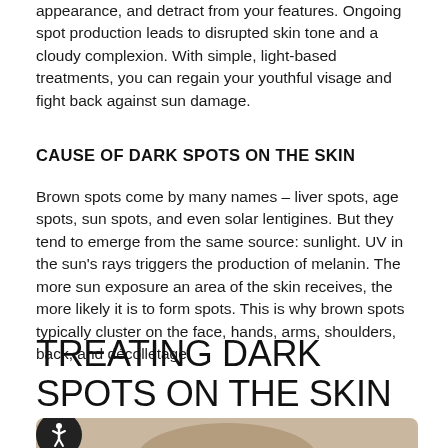appearance, and detract from your features. Ongoing spot production leads to disrupted skin tone and a cloudy complexion. With simple, light-based treatments, you can regain your youthful visage and fight back against sun damage.
CAUSE OF DARK SPOTS ON THE SKIN
Brown spots come by many names – liver spots, age spots, sun spots, and even solar lentigines. But they tend to emerge from the same source: sunlight. UV in the sun's rays triggers the production of melanin. The more sun exposure an area of the skin receives, the more likely it is to form spots. This is why brown spots typically cluster on the face, hands, arms, shoulders, back, and décolletage.
TREATING DARK SPOTS ON THE SKIN
[Figure (photo): Photo of a woman's face partially visible at the bottom of the page, with an accessibility icon (person in circle) overlaid at lower left]